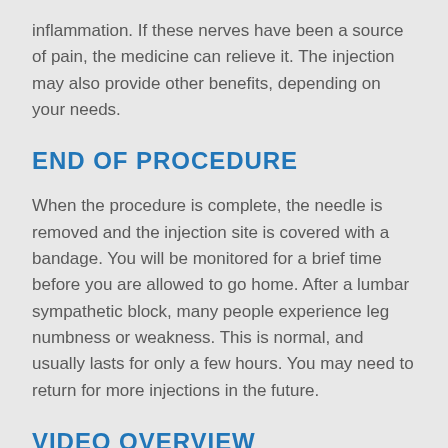inflammation. If these nerves have been a source of pain, the medicine can relieve it. The injection may also provide other benefits, depending on your needs.
END OF PROCEDURE
When the procedure is complete, the needle is removed and the injection site is covered with a bandage. You will be monitored for a brief time before you are allowed to go home. After a lumbar sympathetic block, many people experience leg numbness or weakness. This is normal, and usually lasts for only a few hours. You may need to return for more injections in the future.
VIDEO OVERVIEW